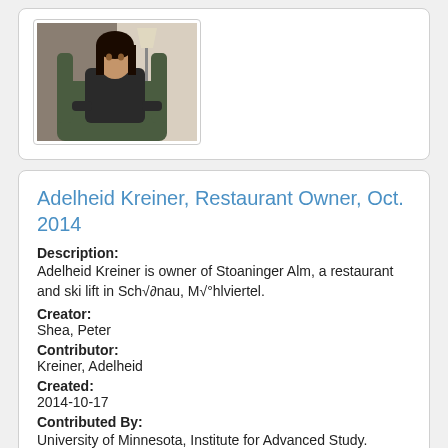[Figure (photo): A woman sitting in a green armchair in an indoor setting with a lamp and curtains in the background.]
Adelheid Kreiner, Restaurant Owner, Oct. 2014
Description:
Adelheid Kreiner is owner of Stoaninger Alm, a restaurant and ski lift in Sch√∂nau, M√°hlviertel.
Creator:
Shea, Peter
Contributor:
Kreiner, Adelheid
Created:
2014-10-17
Contributed By:
University of Minnesota, Institute for Advanced Study.